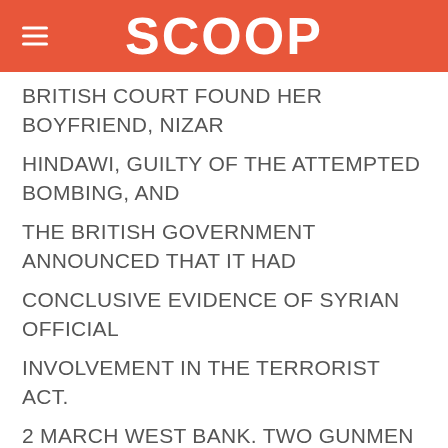SCOOP
BRITISH COURT FOUND HER BOYFRIEND, NIZAR
HINDAWI, GUILTY OF THE ATTEMPTED BOMBING, AND
THE BRITISH GOVERNMENT ANNOUNCED THAT IT HAD
CONCLUSIVE EVIDENCE OF SYRIAN OFFICIAL
INVOLVEMENT IN THE TERRORIST ACT.
2 MARCH WEST BANK. TWO GUNMEN ASSASSINATED THE MAYOR OF
NABLUS, ZAFER AL-MASRI, A PALESTINIAN APPOINTED
BY ISRAEL. BOTH THE ABU NIDAL GROUP AND THE